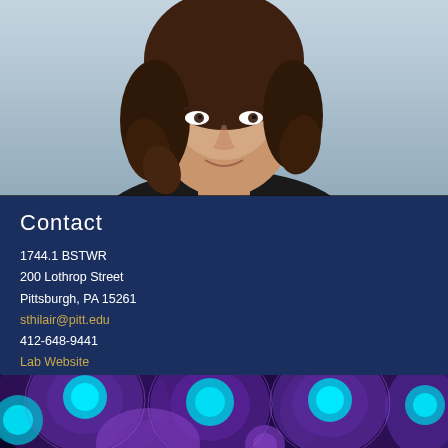[Figure (photo): Headshot photo of a woman with curly brown hair against a light background, cropped to show face and upper shoulders]
Contact
1744.1 BSTWR
200 Lothrop Street
Pittsburgh, PA 15261
sthilair@pitt.edu
412-648-9441
Lab Website
[Figure (photo): Scientific microscopy image showing purple and cyan glowing spherical cells on a dark blue background]